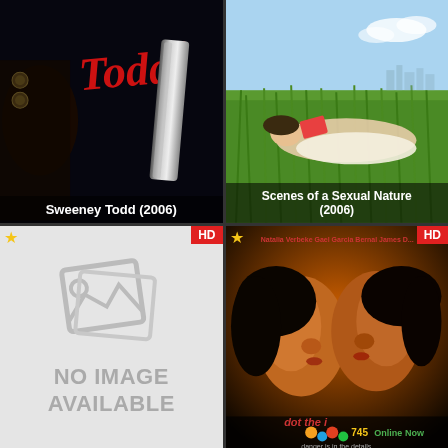[Figure (photo): Movie poster for Sweeney Todd (2006), dark background with stylized red text 'Todd' and a razor/blade object visible]
Sweeney Todd (2006)
[Figure (photo): Movie poster for Scenes of a Sexual Nature (2006), woman lying in green grass outdoors]
Scenes of a Sexual Nature (2006)
[Figure (photo): No image available placeholder with grey image icon]
[Figure (photo): Movie poster showing two faces close together about to kiss, warm amber tones. Actors: Natalia Verbeke, Gael Garcia Bernal, James D. Title partially visible. 745 Online Now shown at bottom. Tagline: danger is in the details.]